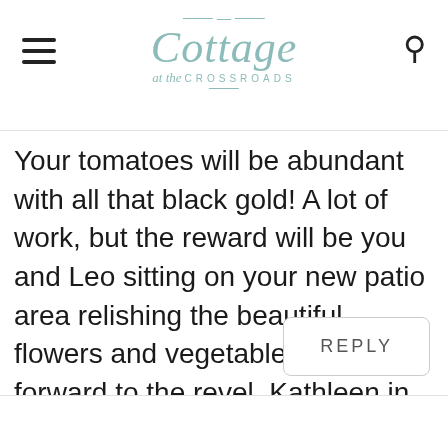Cottage at the Crossroads
Your tomatoes will be abundant with all that black gold! A lot of work, but the reward will be you and Leo sitting on your new patio area relishing the beautiful flowers and vegetables. Looking forward to the revel. Kathleen in Az